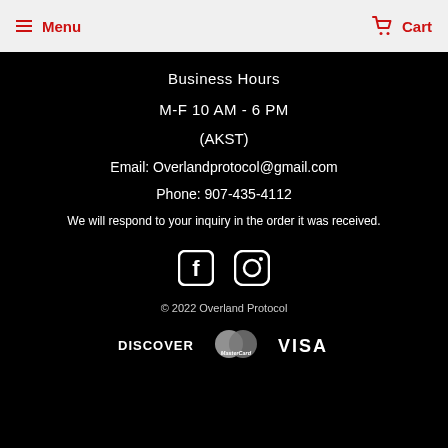Menu  Cart
Business Hours
M-F 10 AM - 6 PM
(AKST)
Email: Overlandprotocol@gmail.com
Phone: 907-435-4112
We will respond to your inquiry in the order it was received.
[Figure (illustration): Facebook and Instagram social media icons in white]
© 2022 Overland Protocol
[Figure (illustration): Payment method logos: Discover, MasterCard, Visa]